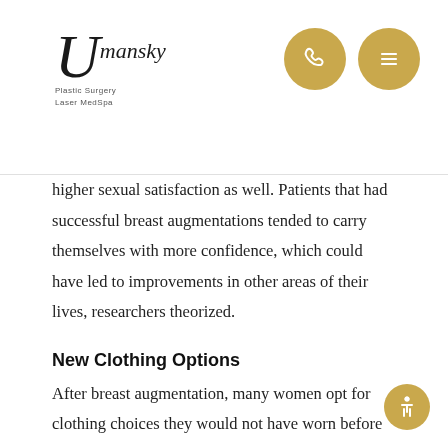Umansky Plastic Surgery Laser MedSpa
higher sexual satisfaction as well. Patients that had successful breast augmentations tended to carry themselves with more confidence, which could have led to improvements in other areas of their lives, researchers theorized.
New Clothing Options
After breast augmentation, many women opt for clothing choices they would not have worn before their surgery. Form fitting fashions and plunging necklines that were an embarrassment before surgery now become a staple to many women's wardrobes. In